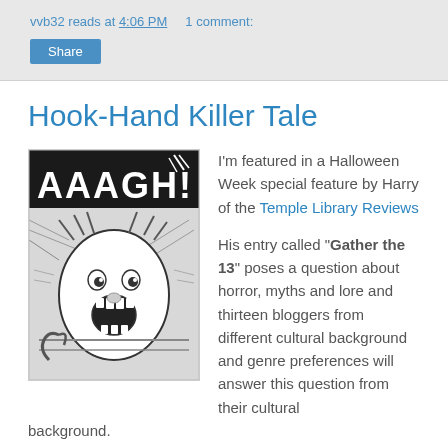vvb32 reads at 4:06 PM   1 comment:
Share
Hook-Hand Killer Tale
[Figure (illustration): Black and white comic illustration showing a screaming person in a car with 'AAAGH!' text and horror imagery]
I'm featured in a Halloween Week special feature by Harry of the Temple Library Reviews

His entry called "Gather the 13" poses a question about horror, myths and lore and thirteen bloggers from different cultural background and genre preferences will answer this question from their cultural background.